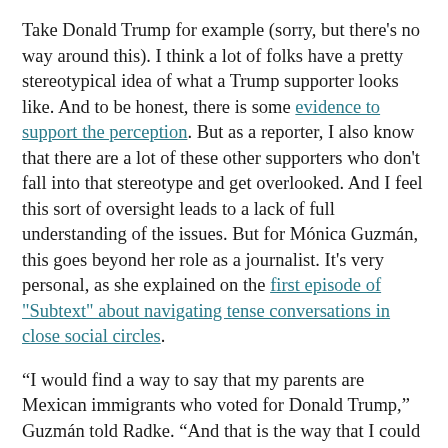Take Donald Trump for example (sorry, but there's no way around this). I think a lot of folks have a pretty stereotypical idea of what a Trump supporter looks like. And to be honest, there is some evidence to support the perception. But as a reporter, I also know that there are a lot of these other supporters who don't fall into that stereotype and get overlooked. And I feel this sort of oversight leads to a lack of full understanding of the issues. But for Mónica Guzmán, this goes beyond her role as a journalist. It's very personal, as she explained on the first episode of "Subtext" about navigating tense conversations in close social circles.
“I would find a way to say that my parents are Mexican immigrants who voted for Donald Trump,” Guzmán told Radke. “And that is the way that I could stop conversation at any Seattle networking event, get-together, dinner party … my [Feedback] ld sort of start pounding a little bit